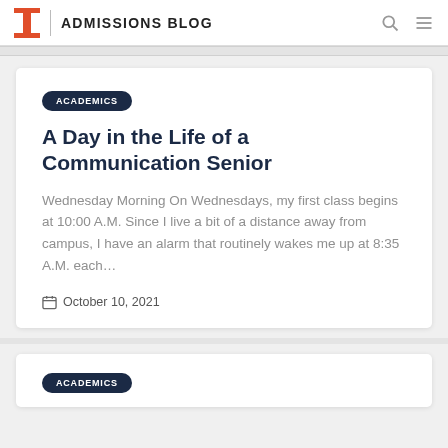ADMISSIONS BLOG
ACADEMICS
A Day in the Life of a Communication Senior
Wednesday Morning On Wednesdays, my first class begins at 10:00 A.M. Since I live a bit of a distance away from campus, I have an alarm that routinely wakes me up at 8:35 A.M. each…
October 10, 2021
ACADEMICS